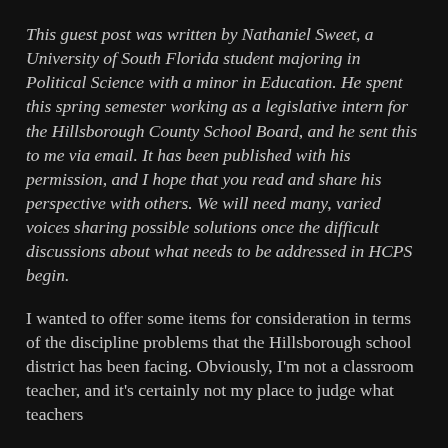This guest post was written by Nathaniel Sweet, a University of South Florida student majoring in Political Science with a minor in Education. He spent this spring semester working as a legislative intern for the Hillsborough County School Board, and he sent this to me via email. It has been published with his permission, and I hope that you read and share his perspective with others. We will need many, varied voices sharing possible solutions once the difficult discussions about what needs to be addressed in HCPS begin.
I wanted to offer some items for consideration in terms of the discipline problems that the Hillsborough school district has been facing. Obviously, I'm not a classroom teacher, and it's certainly not my place to judge what teachers